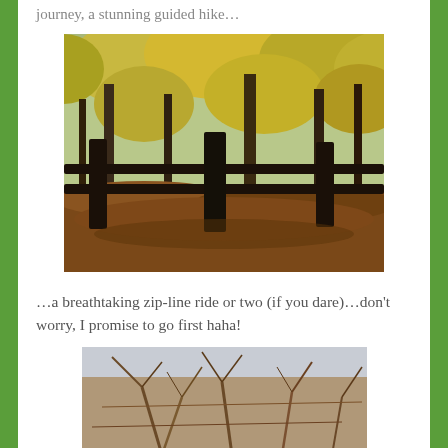journey, a stunning guided hike…
[Figure (photo): Autumn forest scene with a wooden split-rail fence in the foreground, fallen leaves on the ground, and yellow-green leafy trees in the background.]
…a breathtaking zip-line ride or two (if you dare)…don't worry, I promise to go first haha!
[Figure (photo): Bare winter trees with tangled brown branches against a light sky, partial view of a bare-limbed outdoor scene.]